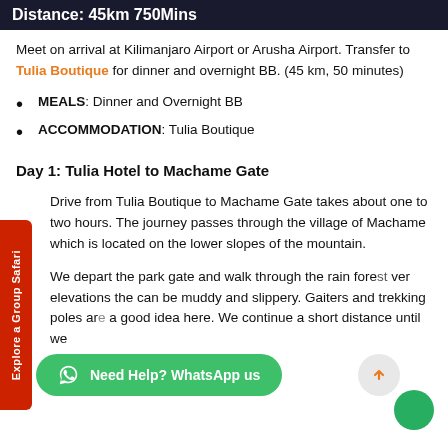Distance: 45km 750Mins
Meet on arrival at Kilimanjaro Airport or Arusha Airport. Transfer to Tulia Boutique for dinner and overnight BB. (45 km, 50 minutes)
MEALS: Dinner and Overnight BB
ACCOMMODATION: Tulia Boutique
Day 1: Tulia Hotel to Machame Gate
Drive from Tulia Boutique to Machame Gate takes about one to two hours. The journey passes through the village of Machame which is located on the lower slopes of the mountain.
We depart the park gate and walk through the rain forest. At higher elevations the trails can be muddy and slippery. Gaiters and trekking poles are a good idea here. We continue a short distance until we